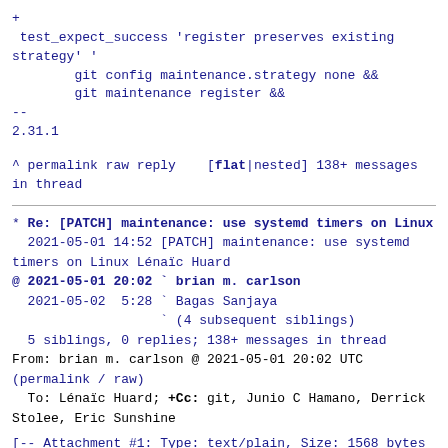+
 test_expect_success 'register preserves existing
strategy' '
        git config maintenance.strategy none &&
        git maintenance register &&
--
2.31.1
^ permalink raw reply    [flat|nested] 138+ messages in thread
* Re: [PATCH] maintenance: use systemd timers on Linux
  2021-05-01 14:52 [PATCH] maintenance: use systemd timers on Linux Lénaïc Huard
@ 2021-05-01 20:02 ` brian m. carlson
  2021-05-02  5:28 ` Bagas Sanjaya
                   ` (4 subsequent siblings)
  5 siblings, 0 replies; 138+ messages in thread
From: brian m. carlson @ 2021-05-01 20:02 UTC
(permalink / raw)
  To: Lénaïc Huard; +Cc: git, Junio C Hamano, Derrick Stolee, Eric Sunshine
[-- Attachment #1: Type: text/plain, Size: 1568 bytes --]
On 2021-05-01 at 14:52:20, Lénaïc Huard wrote:
> The existing mechanism for scheduling background